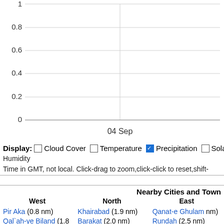[Figure (continuous-plot): Weather chart showing y-axis from 0 to 1 (with gridlines at 0.2, 0.4, 0.6, 0.8, 1.0) and x-axis label '04 Sep'. The chart area is mostly empty/white indicating near-zero precipitation values.]
Display: □ Cloud Cover □ Temperature ☑ Precipitation □ Solar Humidity
Time in GMT, not local. Click-drag to zoom,click-click to reset,shift-
Nearby Cities and Towns
West
Pir Aka (0.8 nm)
Qal`ah-ye Biland (1.8 nm)
Qal`ah-ye Khashah (2.1 nm)
Qal`ah-ye Wali-ye Bala (2.2 nm)
North
Khairabad (1.9 nm)
Barakat (2.0 nm)
Taqu Duz (2.8 nm)
East
Qanat-e Ghulam nm)
Rundah (2.5 nm)
Laghari (2.5 nm)
Karez-e Bala (2.6